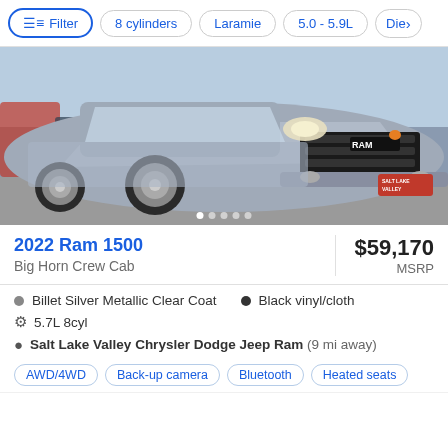Filter | 8 cylinders | Laramie | 5.0 - 5.9L | Die>
[Figure (photo): Silver 2022 Ram 1500 Big Horn Crew Cab pickup truck photographed from the front three-quarter angle in a dealer lot on a sunny day]
2022 Ram 1500
Big Horn Crew Cab
$59,170 MSRP
Billet Silver Metallic Clear Coat
Black vinyl/cloth
5.7L 8cyl
Salt Lake Valley Chrysler Dodge Jeep Ram (9 mi away)
AWD/4WD
Back-up camera
Bluetooth
Heated seats